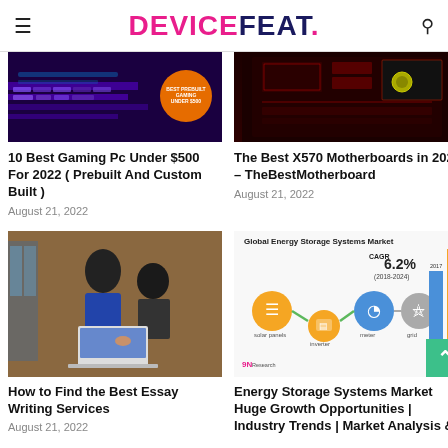DEVICEFEAT.
[Figure (photo): Gaming PC keyboard with purple/blue lighting and orange badge reading BEST PREBUILT GAMING UNDER $500]
10 Best Gaming Pc Under $500 For 2022 ( Prebuilt And Custom Built )
August 21, 2022
[Figure (photo): Red and black X570 motherboard close-up photo]
The Best X570 Motherboards in 2022 – TheBestMotherboard
August 21, 2022
[Figure (photo): Two women working on a laptop together in a cafe]
How to Find the Best Essay Writing Services
August 21, 2022
[Figure (infographic): Global Energy Storage Systems Market infographic showing CAGR 6.2% (2018-2024) with solar panels, inverter, meter, grid icons and bar chart showing USD 19.43 Billion]
Energy Storage Systems Market Huge Growth Opportunities | Industry Trends | Market Analysis &